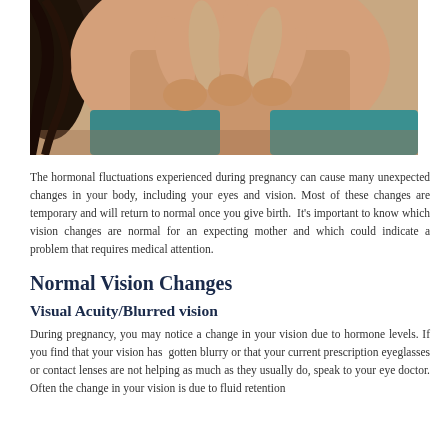[Figure (photo): Close-up photo of a pregnant woman's face with hands clasped near her chin, wearing a teal/turquoise top, dark hair visible]
The hormonal fluctuations experienced during pregnancy can cause many unexpected changes in your body, including your eyes and vision. Most of these changes are temporary and will return to normal once you give birth.  It's important to know which vision changes are normal for an expecting mother and which could indicate a problem that requires medical attention.
Normal Vision Changes
Visual Acuity/Blurred vision
During pregnancy, you may notice a change in your vision due to hormone levels. If you find that your vision has gotten blurry or that your current prescription eyeglasses or contact lenses are not helping as much as they usually do, speak to your eye doctor. Often the change in your vision is due to fluid retention